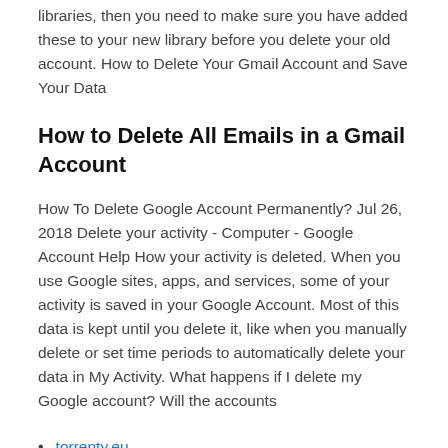libraries, then you need to make sure you have added these to your new library before you delete your old account. How to Delete Your Gmail Account and Save Your Data
How to Delete All Emails in a Gmail Account
How To Delete Google Account Permanently? Jul 26, 2018 Delete your activity - Computer - Google Account Help How your activity is deleted. When you use Google sites, apps, and services, some of your activity is saved in your Google Account. Most of this data is kept until you delete it, like when you manually delete or set time periods to automatically delete your data in My Activity. What happens if I delete my Google account? Will the accounts
torrenty.eu
contourner la limite du hotspot des métropoles
test geoip